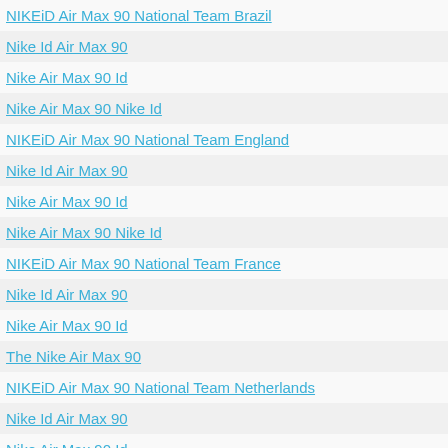NIKEiD Air Max 90 National Team Brazil
Nike Id Air Max 90
Nike Air Max 90 Id
Nike Air Max 90 Nike Id
NIKEiD Air Max 90 National Team England
Nike Id Air Max 90
Nike Air Max 90 Id
Nike Air Max 90 Nike Id
NIKEiD Air Max 90 National Team France
Nike Id Air Max 90
Nike Air Max 90 Id
The Nike Air Max 90
NIKEiD Air Max 90 National Team Netherlands
Nike Id Air Max 90
Nike Air Max 90 Id
Nike Air Max 90 Nike Id
NIKEiD Air Max 90 National Team USA
Air Max 1 Id
Nike Air Max 1 Id
Nike Air Max 1 Qs
Nike Air Max 1 Liquid Metal Pack
Air Max 90 Anniversary
Nike Air Max 90 Anniversary